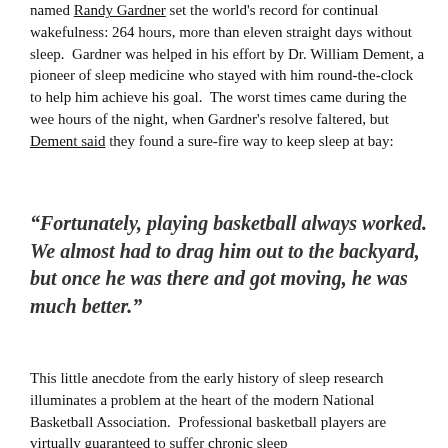named Randy Gardner set the world's record for continual wakefulness: 264 hours, more than eleven straight days without sleep.  Gardner was helped in his effort by Dr. William Dement, a pioneer of sleep medicine who stayed with him round-the-clock to help him achieve his goal.  The worst times came during the wee hours of the night, when Gardner's resolve faltered, but Dement said they found a sure-fire way to keep sleep at bay:
“Fortunately, playing basketball always worked. We almost had to drag him out to the backyard, but once he was there and got moving, he was much better.”
This little anecdote from the early history of sleep research illuminates a problem at the heart of the modern National Basketball Association.  Professional basketball players are virtually guaranteed to suffer chronic sleep